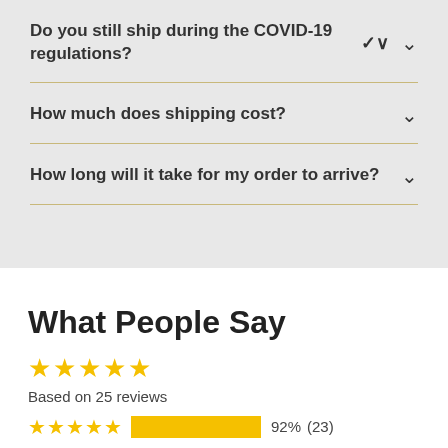Do you still ship during the COVID-19 regulations?
How much does shipping cost?
How long will it take for my order to arrive?
What People Say
Based on 25 reviews
92% (23)